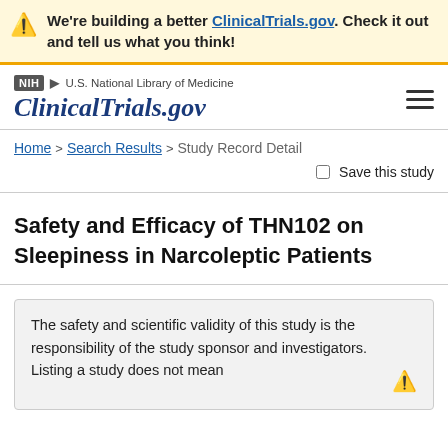We're building a better ClinicalTrials.gov. Check it out and tell us what you think!
NIH | U.S. National Library of Medicine | ClinicalTrials.gov
Home > Search Results > Study Record Detail
Save this study
Safety and Efficacy of THN102 on Sleepiness in Narcoleptic Patients
The safety and scientific validity of this study is the responsibility of the study sponsor and investigators. Listing a study does not mean